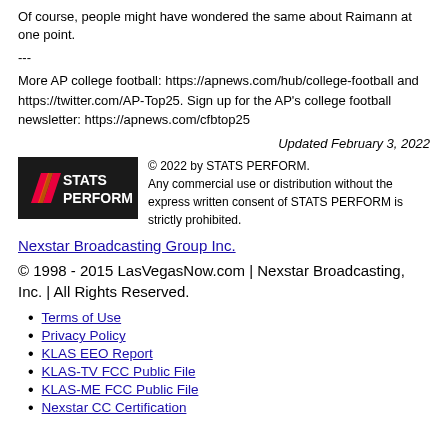Of course, people might have wondered the same about Raimann at one point.
---
More AP college football: https://apnews.com/hub/college-football and https://twitter.com/AP-Top25. Sign up for the AP's college football newsletter: https://apnews.com/cfbtop25
Updated February 3, 2022
[Figure (logo): STATS PERFORM logo on black background with red and yellow slash marks]
© 2022 by STATS PERFORM. Any commercial use or distribution without the express written consent of STATS PERFORM is strictly prohibited.
Nexstar Broadcasting Group Inc.
© 1998 - 2015 LasVegasNow.com | Nexstar Broadcasting, Inc. | All Rights Reserved.
Terms of Use
Privacy Policy
KLAS EEO Report
KLAS-TV FCC Public File
KLAS-ME FCC Public File
Nexstar CC Certification